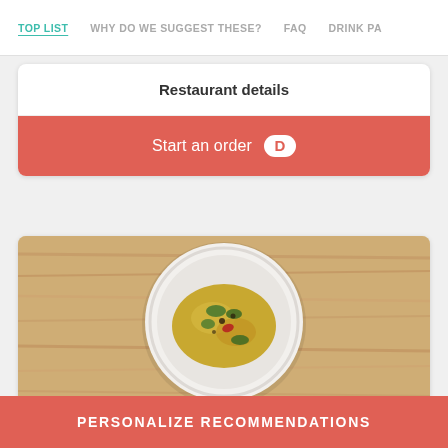TOP LIST | WHY DO WE SUGGEST THESE? | FAQ | DRINK PA
Restaurant details
Start an order
[Figure (photo): Overhead photo of a white plate with yellow rice/biryani dish garnished with herbs and red chilies, placed on a wooden table surface]
PERSONALIZE RECOMMENDATIONS